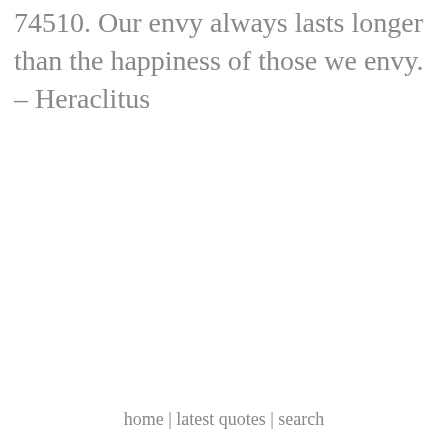74510. Our envy always lasts longer than the happiness of those we envy. – Heraclitus
home | latest quotes | search